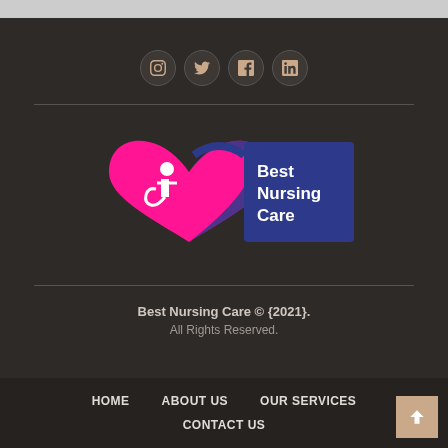[Figure (logo): Social media icon buttons: Instagram, Twitter, Facebook, LinkedIn — circular dark buttons with beige/salmon icons]
[Figure (logo): Best Nursing Care logo: pink heart with wheelchair accessibility icon on the left, dark blue rectangle on the right with white text 'Best Nursing Care']
Best Nursing Care © {2021}.
All Rights Reserved.
HOME   ABOUT US   OUR SERVICES   CONTACT US